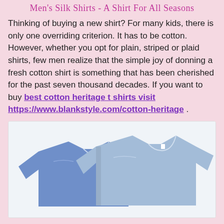Men's Silk Shirts - A Shirt For All Seasons
Thinking of buying a new shirt? For many kids, there is only one overriding criterion. It has to be cotton. However, whether you opt for plain, striped or plaid shirts, few men realize that the simple joy of donning a fresh cotton shirt is something that has been cherished for the past seven thousand decades. If you want to buy best cotton heritage t shirts visit https://www.blankstyle.com/cotton-heritage .
[Figure (photo): Two blue cotton t-shirts overlapping, one darker blue on the left and one lighter blue on the right, displayed against a white background.]